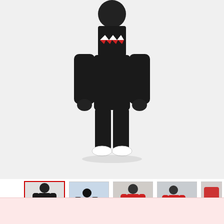[Figure (photo): Main product photo: person wearing black PINGUP P-40 Fighter & Shark Conjoined One Piece Snowboard Suit, showing shark mouth graphic on hoodie, standing with white sneakers visible at bottom, against light gray background]
[Figure (photo): Thumbnail 1 (selected, red border): person in black snowboard suit standing straight, full body view against white background]
[Figure (photo): Thumbnail 2: person in black snowboard suit crouching near snowboard outdoors with blue sky]
[Figure (photo): Thumbnail 3: person in red snowboard suit standing indoors near doorway with green helmet]
[Figure (photo): Thumbnail 4: person in red snowboard suit walking outdoors]
[Figure (photo): Thumbnail 5: partial view of person in red snowboard suit]
Men's PINGUP P-40 Fighter & Shark Conjoined One Piece Snowboard Suits
PING&UP